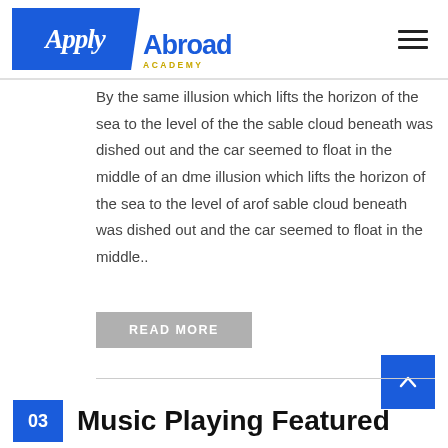Apply Abroad Academy
By the same illusion which lifts the horizon of the sea to the level of the the sable cloud beneath was dished out and the car seemed to float in the middle of an dme illusion which lifts the horizon of the sea to the level of arof sable cloud beneath was dished out and the car seemed to float in the middle..
READ MORE
03 Music Playing Featured